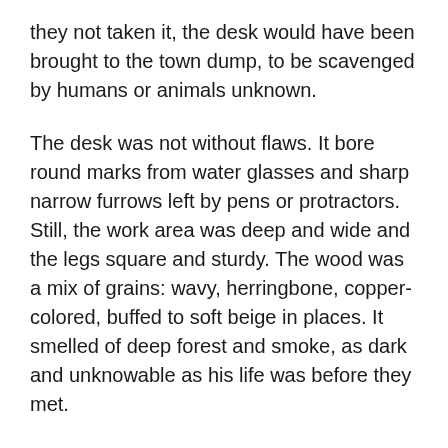they not taken it, the desk would have been brought to the town dump, to be scavenged by humans or animals unknown.
The desk was not without flaws. It bore round marks from water glasses and sharp narrow furrows left by pens or protractors. Still, the work area was deep and wide and the legs square and sturdy. The wood was a mix of grains: wavy, herringbone, copper-colored, buffed to soft beige in places. It smelled of deep forest and smoke, as dark and unknowable as his life was before they met.
They had been married only a few months when everything changed.
Although she liked the desk's woodsy aroma, when she reached inside the sole drawer, she felt